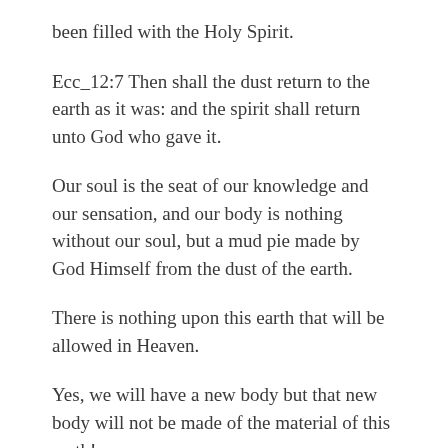been filled with the Holy Spirit.
Ecc_12:7 Then shall the dust return to the earth as it was: and the spirit shall return unto God who gave it.
Our soul is the seat of our knowledge and our sensation, and our body is nothing without our soul, but a mud pie made by God Himself from the dust of the earth.
There is nothing upon this earth that will be allowed in Heaven.
Yes, we will have a new body but that new body will not be made of the material of this earth!
Today we should take much better care of our soul than this body which only goes every day!